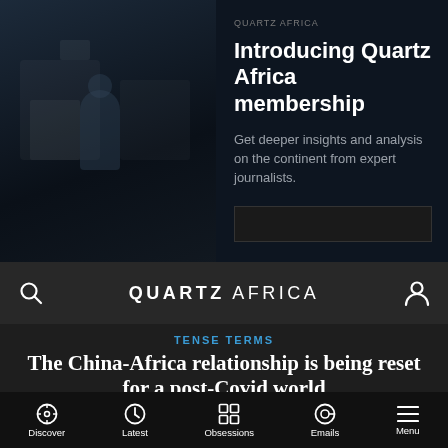[Figure (screenshot): Dark overlay background with blurred scene on left side of top section]
QUARTZ AFRICA
Introducing Quartz Africa membership
Get deeper insights and analysis on the continent from expert journalists.
[Figure (other): Dark button/CTA element]
QUARTZ AFRICA
TENSE TERMS
The China-Africa relationship is being reset for a post-Covid world
Discover  Latest  Obsessions  Emails  Menu